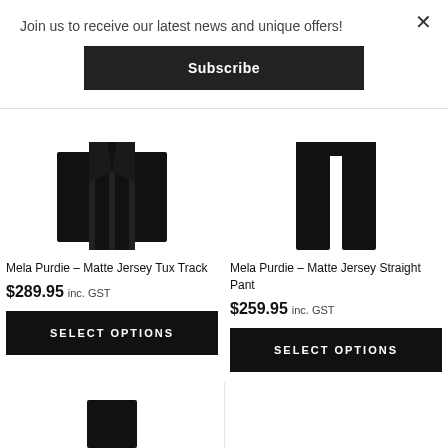Join us to receive our latest news and unique offers!
Subscribe
×
[Figure (photo): Black garment/jacket top portion on white background]
Mela Purdie – Matte Jersey Tux Track
$289.95 inc. GST
SELECT OPTIONS
[Figure (photo): Black garment/pants top portion on white background]
Mela Purdie – Matte Jersey Straight Pant
$259.95 inc. GST
SELECT OPTIONS
[Figure (photo): Bottom portion of black garment partially visible]